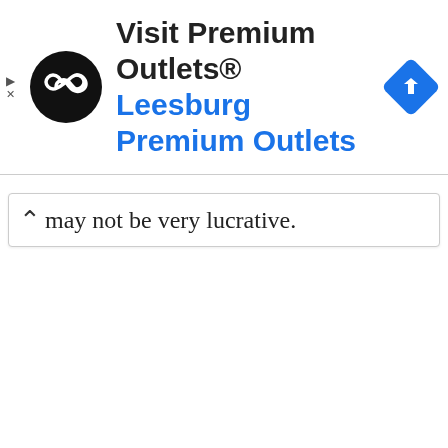[Figure (screenshot): Advertisement banner for Premium Outlets / Leesburg Premium Outlets with logo, navigation icon, and ad controls]
may not be very lucrative.